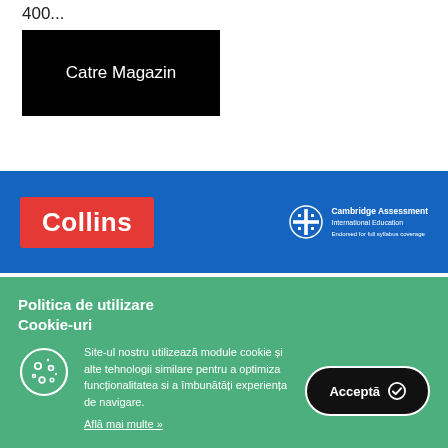400...
Catre Magazin
[Figure (logo): Collins logo (white text on red background) with Cambridge Assessment International Education logo on blue banner background]
Politica de utilizare Cookie-uri
Site-ul nostru utilizează module cookie și alte tehnologii similare pentru a optimiza funcționalitatea si a îmbunătăți experiența de navigare.
Află mai multe »
Acceptă